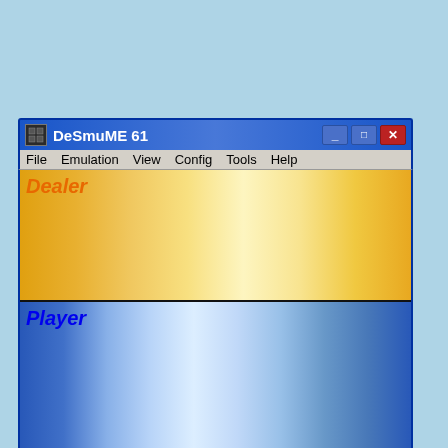[Figure (screenshot): DeSmuME 61 emulator window showing a blackjack game. The window has a blue title bar with 'DeSmuME 61', menu bar with File, Emulation, View, Config, Tools, Help. Top screen shows 'Dealer' on golden/yellow background. Bottom screen shows 'Player' on blue/white gradient. Below is a green info bar showing 'Chips: 150' and 'Current Bet: 50'. Below that is a photograph of casino chips on a green felt table with an overlay showing initial dealer card statistics: Ace:4, Two:1, Three:0, Four:2, Five:2, Six:1, Seven:2, Eight:5, Nine:1, Ten:1, Queen:3, Jack:0, King:0, (total tens: 4), Total cards: 22]